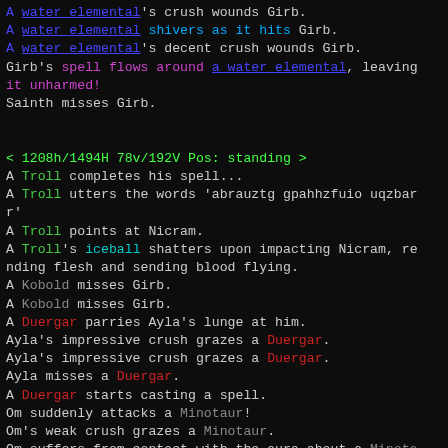A water elemental's crush wounds Girb.
A water elemental shivers as it hits Girb.
A water elemental's decent crush wounds Girb.
Girb's spell flows around a water elemental, leaving it unharmed!
Sainth misses Girb.
< 1208h/1494H 78v/192V Pos: standing >
A Troll completes his spell...
A Troll utters the words 'abrauztg gpahhzfuio uqzbar r'
A Troll points at Nicram.
A Troll's iceball shatters upon impacting Nicram, rending flesh and sending blood flying.
A Kobold misses Girb.
A Kobold misses Girb.
A Duergar parries Ayla's lunge at him.
Ayla's impressive crush grazes a Duergar.
Ayla's impressive crush grazes a Duergar.
Ayla misses a Duergar.
A Duergar starts casting a spell.
Om suddenly attacks a Minotaur!
Om's weak crush grazes a Minotaur.
Om suffers from contact with the aura about a Minota